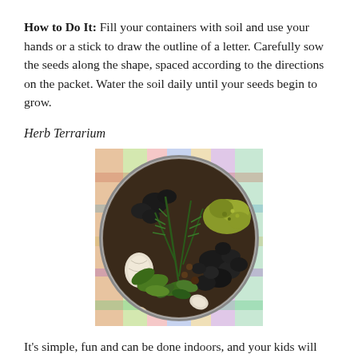How to Do It: Fill your containers with soil and use your hands or a stick to draw the outline of a letter. Carefully sow the seeds along the shape, spaced according to the directions on the packet. Water the soil daily until your seeds begin to grow.
Herb Terrarium
[Figure (photo): Overhead view of a glass bowl terrarium containing herbs, dark river stones, moss, small shells, and soil, placed on a colorful striped cloth.]
It's simple, fun and can be done indoors, and your kids will have fun decorating their mini-garden with bits and pieces they collect from around the neighborhood. It's